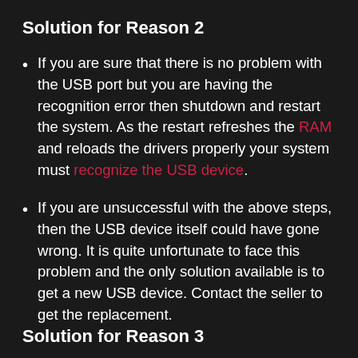Solution for Reason 2
If you are sure that there is no problem with the USB port but you are having the recognition error then shutdown and restart the system. As the restart refreshes the RAM and reloads the drivers properly your system must recognize the USB device.
If you are unsuccessful with the above steps, then the USB device itself could have gone wrong. It is quite unfortunate to face this problem and the only solution available is to get a new USB device. Contact the seller to get the replacement.
Solution for Reason 3